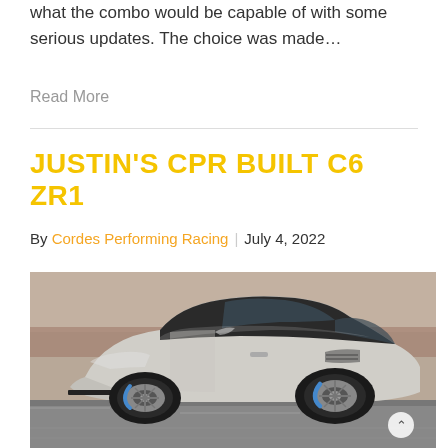what the combo would be capable of with some serious updates. The choice was made…
Read More
JUSTIN'S CPR BUILT C6 ZR1
By Cordes Performing Racing | July 4, 2022
[Figure (photo): Silver Chevrolet Corvette C6 ZR1 sports car photographed in motion on a road with a blurred background, side profile view showing wide bodywork, large wheels with blue brake calipers.]